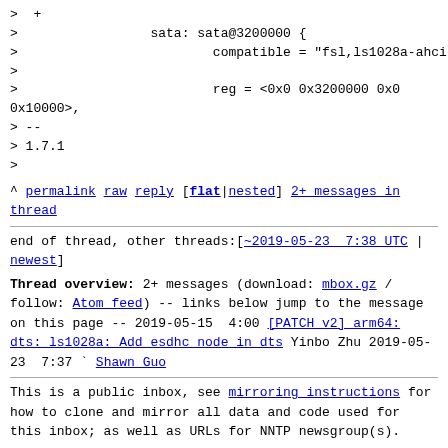>  +
>                 sata: sata@3200000 {
>                         compatible = "fsl,ls1028a-ahci";
>
>                         reg = <0x0 0x3200000 0x0 0x10000>,
> --
> 1.7.1
>
^ permalink raw reply [flat|nested] 2+ messages in thread
end of thread, other threads:[~2019-05-23 7:38 UTC | newest]
Thread overview: 2+ messages (download: mbox.gz / follow: Atom feed)
-- links below jump to the message on this page --
2019-05-15 4:00 [PATCH v2] arm64: dts: ls1028a: Add esdhc node in dts Yinbo Zhu
2019-05-23 7:37 ` Shawn Guo
This is a public inbox, see mirroring instructions for how to clone and mirror all data and code used for this inbox; as well as URLs for NNTP newsgroup(s).